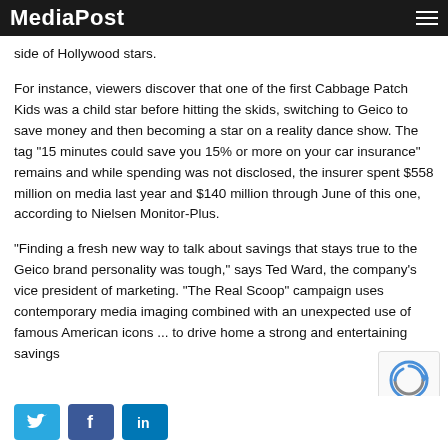MediaPost
side of Hollywood stars.
For instance, viewers discover that one of the first Cabbage Patch Kids was a child star before hitting the skids, switching to Geico to save money and then becoming a star on a reality dance show. The tag "15 minutes could save you 15% or more on your car insurance" remains and while spending was not disclosed, the insurer spent $558 million on media last year and $140 million through June of this one, according to Nielsen Monitor-Plus.
"Finding a fresh new way to talk about savings that stays true to the Geico brand personality was tough," says Ted Ward, the company's vice president of marketing. "The Real Scoop" campaign uses contemporary media imaging combined with an unexpected use of famous American icons ... to drive home a strong and entertaining savings
[Figure (other): Social share buttons: Twitter (bird icon), Facebook (f icon), LinkedIn (in icon)]